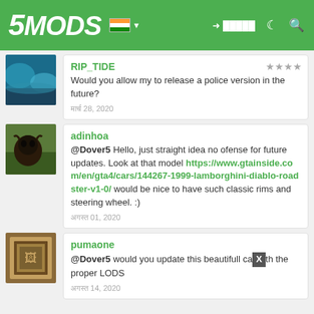5MODS
RIP_TIDE — Would you allow my to release a police version in the future? — मार्च 28, 2020
adinhoa — @Dover5 Hello, just straight idea no ofense for future updates. Look at that model https://www.gtainside.com/en/gta4/cars/144267-1999-lamborghini-diablo-roadster-v1-0/ would be nice to have such classic rims and steering wheel. :) — अगस्त 01, 2020
pumaone — @Dover5 would you update this beautifull car with the proper LODS — अगस्त 14, 2020